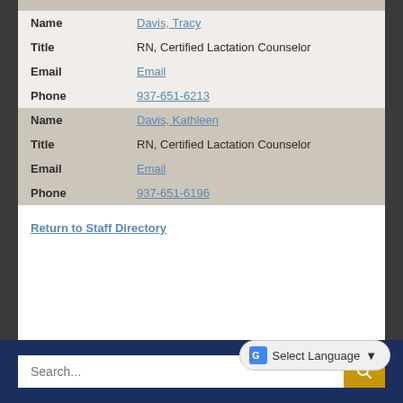| Field | Value |
| --- | --- |
| Name | Davis, Tracy |
| Title | RN, Certified Lactation Counselor |
| Email | Email |
| Phone | 937-651-6213 |
| Name | Davis, Kathleen |
| Title | RN, Certified Lactation Counselor |
| Email | Email |
| Phone | 937-651-6196 |
Return to Staff Directory
Search...